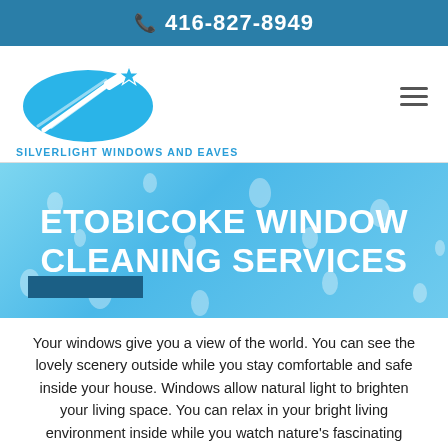416-827-8949
[Figure (logo): Silverlight Windows and Eaves logo — blue oval with window squeegee and star, with company name below]
ETOBICOKE WINDOW CLEANING SERVICES
Your windows give you a view of the world. You can see the lovely scenery outside while you stay comfortable and safe inside your house. Windows allow natural light to brighten your living space. You can relax in your bright living environment inside while you watch nature's fascinating